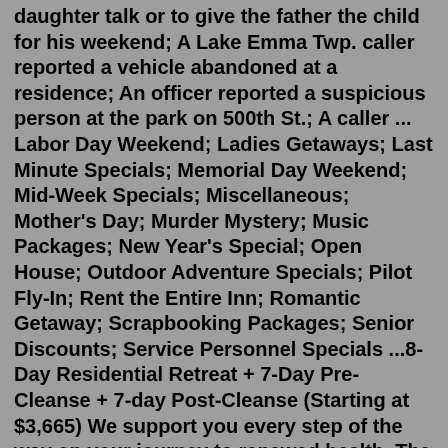daughter talk or to give the father the child for his weekend; A Lake Emma Twp. caller reported a vehicle abandoned at a residence; An officer reported a suspicious person at the park on 500th St.; A caller ... Labor Day Weekend; Ladies Getaways; Last Minute Specials; Memorial Day Weekend; Mid-Week Specials; Miscellaneous; Mother's Day; Murder Mystery; Music Packages; New Year's Special; Open House; Outdoor Adventure Specials; Pilot Fly-In; Rent the Entire Inn; Romantic Getaway; Scrapbooking Packages; Senior Discounts; Service Personnel Specials ...8-Day Residential Retreat + 7-Day Pre-Cleanse + 7-day Post-Cleanse (Starting at $3,665) We support you every step of the way on your journey to renewed health. The program is designed to yield the highest results pertaining to anxiety, depression, and chronic stress.Teaching them a classic board or card game. Bring them to one of your "stomping grounds" and show them off - church, golf club, favourite cafe, etc. Visit an art museum. Spa